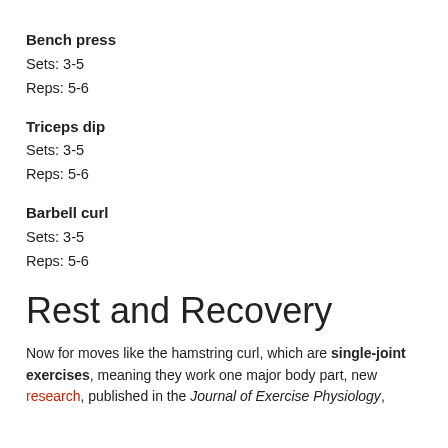Bench press
Sets: 3-5
Reps: 5-6
Triceps dip
Sets: 3-5
Reps: 5-6
Barbell curl
Sets: 3-5
Reps: 5-6
Rest and Recovery
Now for moves like the hamstring curl, which are single-joint exercises, meaning they work one major body part, new research, published in the Journal of Exercise Physiology,